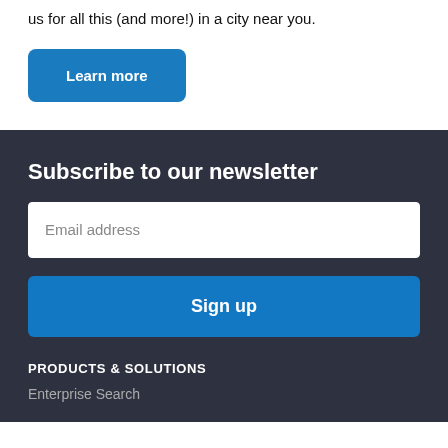us for all this (and more!) in a city near you.
Learn more
Subscribe to our newsletter
Email address
Sign up
PRODUCTS & SOLUTIONS
Enterprise Search